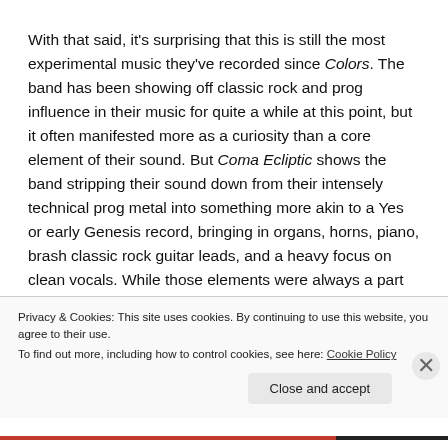With that said, it's surprising that this is still the most experimental music they've recorded since Colors. The band has been showing off classic rock and prog influence in their music for quite a while at this point, but it often manifested more as a curiosity than a core element of their sound. But Coma Ecliptic shows the band stripping their sound down from their intensely technical prog metal into something more akin to a Yes or early Genesis record, bringing in organs, horns, piano, brash classic rock guitar leads, and a heavy focus on clean vocals. While those elements were always a part of the band's sound, here they're actually the focus and basis for much of these
Privacy & Cookies: This site uses cookies. By continuing to use this website, you agree to their use.
To find out more, including how to control cookies, see here: Cookie Policy
Close and accept